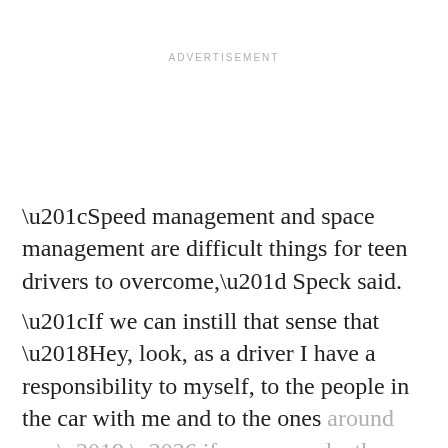ADVERTISEMENT
“Speed management and space management are difficult things for teen drivers to overcome,” Speck said.
“If we can instill that sense that ‘Hey, look, as a driver I have a responsibility to myself, to the people in the car with me and to the ones around me,’ … if we can make those drivers safer then we’ve accomplished our task,” he